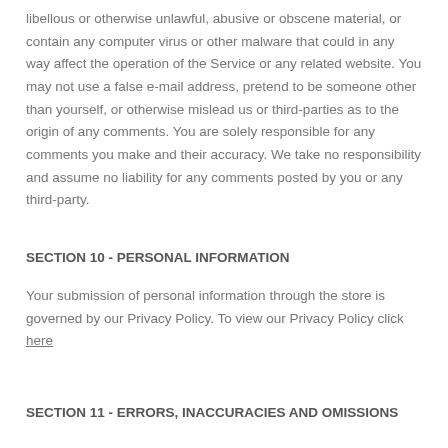libellous or otherwise unlawful, abusive or obscene material, or contain any computer virus or other malware that could in any way affect the operation of the Service or any related website. You may not use a false e-mail address, pretend to be someone other than yourself, or otherwise mislead us or third-parties as to the origin of any comments. You are solely responsible for any comments you make and their accuracy. We take no responsibility and assume no liability for any comments posted by you or any third-party.
SECTION 10 - PERSONAL INFORMATION
Your submission of personal information through the store is governed by our Privacy Policy. To view our Privacy Policy click here
SECTION 11 - ERRORS, INACCURACIES AND OMISSIONS